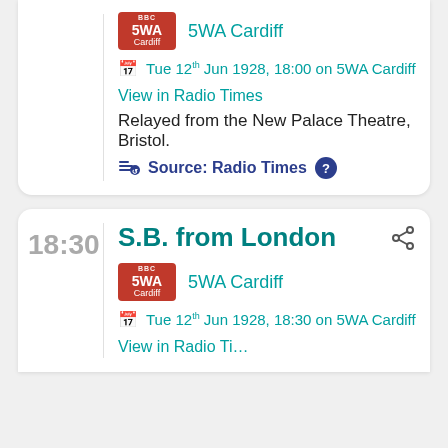[Figure (logo): BBC 5WA Cardiff station badge (red rectangle)]
5WA Cardiff
Tue 12th Jun 1928, 18:00 on 5WA Cardiff
View in Radio Times
Relayed from the New Palace Theatre, Bristol.
Source: Radio Times
18:30
S.B. from London
[Figure (logo): BBC 5WA Cardiff station badge (red rectangle)]
5WA Cardiff
Tue 12th Jun 1928, 18:30 on 5WA Cardiff
View in Radio Ti...